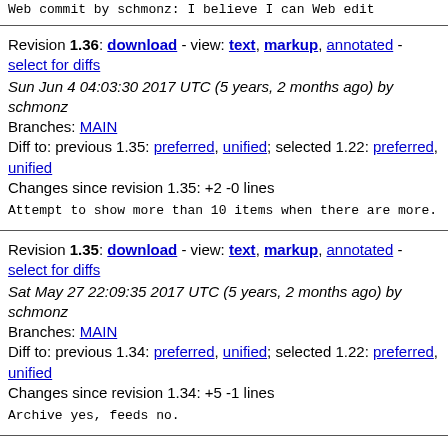Web commit by schmonz: I believe I can Web edit
Revision 1.36: download - view: text, markup, annotated - select for diffs
Sun Jun 4 04:03:30 2017 UTC (5 years, 2 months ago) by schmonz
Branches: MAIN
Diff to: previous 1.35: preferred, unified; selected 1.22: preferred, unified
Changes since revision 1.35: +2 -0 lines
Attempt to show more than 10 items when there are more.
Revision 1.35: download - view: text, markup, annotated - select for diffs
Sat May 27 22:09:35 2017 UTC (5 years, 2 months ago) by schmonz
Branches: MAIN
Diff to: previous 1.34: preferred, unified; selected 1.22: preferred, unified
Changes since revision 1.34: +5 -1 lines
Archive yes, feeds no.
Revision 1.34: download - view: text, markup, annotated - select for diffs
Sat May 27 22:06:42 2017 UTC (5 years, 2 months ago) by